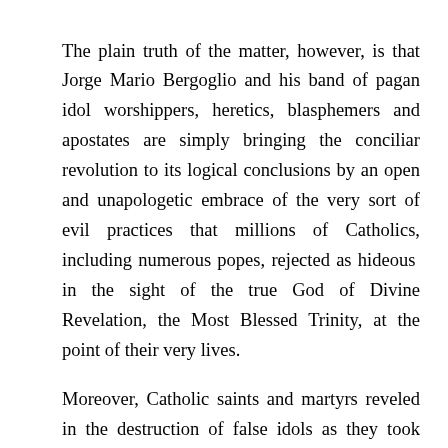The plain truth of the matter, however, is that Jorge Mario Bergoglio and his band of pagan idol worshippers, heretics, blasphemers and apostates are simply bringing the conciliar revolution to its logical conclusions by an open and unapologetic embrace of the very sort of evil practices that millions of Catholics, including numerous popes, rejected as hideous in the sight of the true God of Divine Revelation, the Most Blessed Trinity, at the point of their very lives.
Moreover, Catholic saints and martyrs reveled in the destruction of false idols as they took seriously the dictates of the First Commandment and the words that King David wrote in Psalm 95, verse 1: